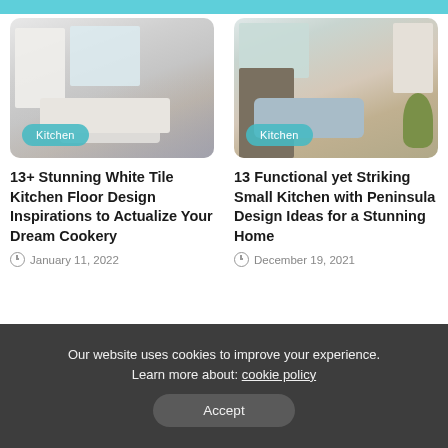[Figure (photo): White kitchen with island, bar stools, and pendant lights. Badge reads 'Kitchen'.]
13+ Stunning White Tile Kitchen Floor Design Inspirations to Actualize Your Dream Cookery
January 11, 2022
[Figure (photo): Small kitchen with peninsula, sofa, fireplace and shelves. Badge reads 'Kitchen'.]
13 Functional yet Striking Small Kitchen with Peninsula Design Ideas for a Stunning Home
December 19, 2021
Our website uses cookies to improve your experience. Learn more about: cookie policy